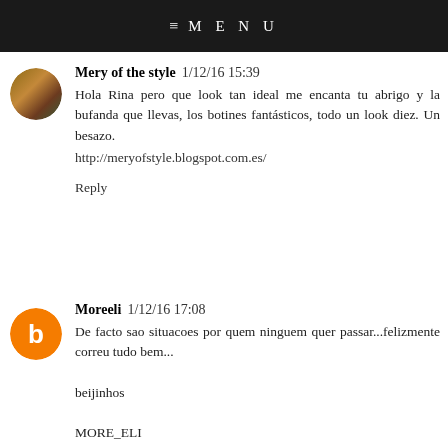≡ MENU
Reply
Mery of the style  1/12/16 15:39
Hola Rina pero que look tan ideal me encanta tu abrigo y la bufanda que llevas, los botines fantásticos, todo un look diez. Un besazo.
http://meryofstyle.blogspot.com.es/
Reply
Moreeli  1/12/16 17:08
De facto sao situacoes por quem ninguem quer passar...felizmente correu tudo bem...
bijinhos
MORE_ELI
Reply